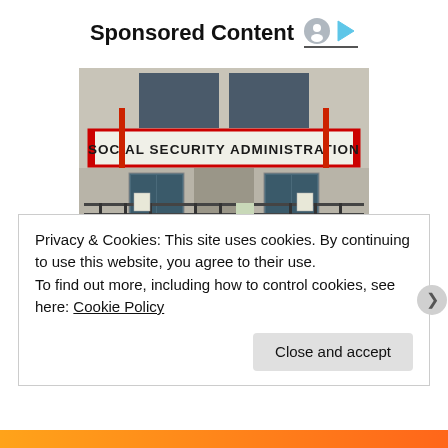Sponsored Content
[Figure (photo): Exterior photo of a Social Security Administration building, showing the entrance with a sign reading 'SOCIAL SECURITY ADMINISTRATION', glass doors, metal railings, and red fire safety equipment.]
$900 Grocery Allowance For Seniors...
Privacy & Cookies: This site uses cookies. By continuing to use this website, you agree to their use.
To find out more, including how to control cookies, see here: Cookie Policy
Close and accept